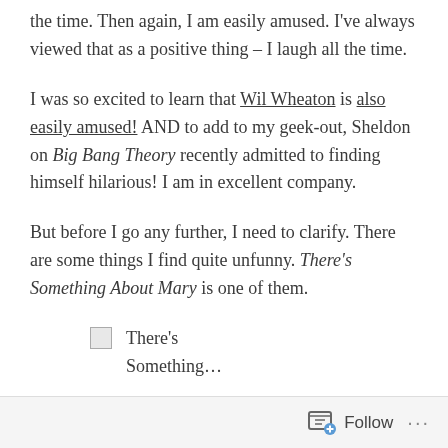the time. Then again, I am easily amused. I've always viewed that as a positive thing – I laugh all the time.
I was so excited to learn that Wil Wheaton is also easily amused! AND to add to my geek-out, Sheldon on Big Bang Theory recently admitted to finding himself hilarious! I am in excellent company.
But before I go any further, I need to clarify. There are some things I find quite unfunny. There's Something About Mary is one of them.
[Figure (photo): Broken image placeholder followed by caption text 'There's Something about...']
Follow ···